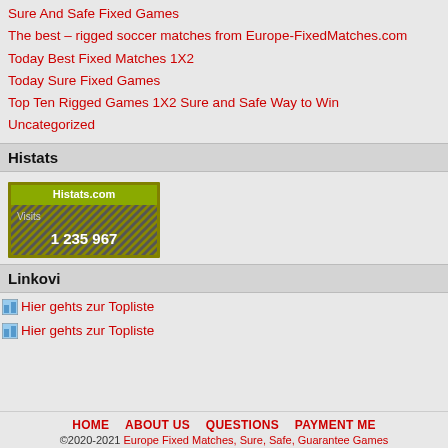Sure And Safe Fixed Games
The best – rigged soccer matches from Europe-FixedMatches.com
Today Best Fixed Matches 1X2
Today Sure Fixed Games
Top Ten Rigged Games 1X2 Sure and Safe Way to Win
Uncategorized
Histats
[Figure (other): Histats.com visit counter widget showing Visits: 1 235 967]
Linkovi
Hier gehts zur Topliste
Hier gehts zur Topliste
HOME   ABOUT US   QUESTIONS   PAYMENT ME   ©2020-2021 Europe Fixed Matches, Sure, Safe, Guarantee Games